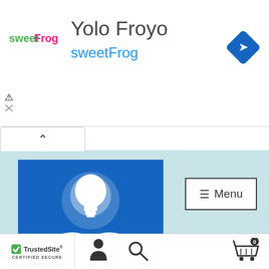Yolo Froyo
sweetFrog
[Figure (logo): sweetFrog logo in pink/green text]
[Figure (illustration): Blue navigation arrow diamond icon]
[Figure (logo): FranchiseComplaints.org logo — blue square with white light bulb over open book, text FRANCHISE COMPLAINTS.ORG, franchise research & information services]
≡ Menu
TrustedSite
CERTIFIED SECURE